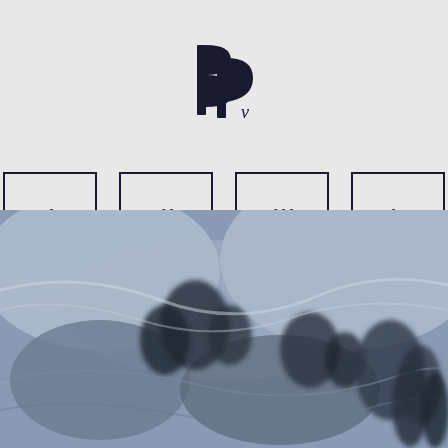[Figure (logo): Stylized intertwined letters logo, resembling B and D monogram with a lowercase v, dark color on light background]
[Figure (infographic): Four bordered boxes in a row each containing lowercase italic Roman numerals: i, ii, iii, iv]
[Figure (photo): Blurred black and white or desaturated photograph showing figures in a rocky or mountainous outdoor landscape, possibly historical or documentary image]